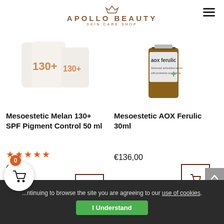[Figure (logo): Apollo Beauty Skin Care Shop logo with crown icon in brown/copper color]
[Figure (photo): Mesoestetic Melan 130+ SPF Pigment Control 50ml product bottles]
[Figure (photo): Mesoestetic AOX Ferulic 30ml serum bottle in amber glass]
Mesoestetic Melan 130+ SPF Pigment Control 50 ml
★★★★★
€48,00
Mesoestetic AOX Ferulic 30ml
€136,00
...ntinuing to browse the site you are agreeing to our use of cookies.
I Understand